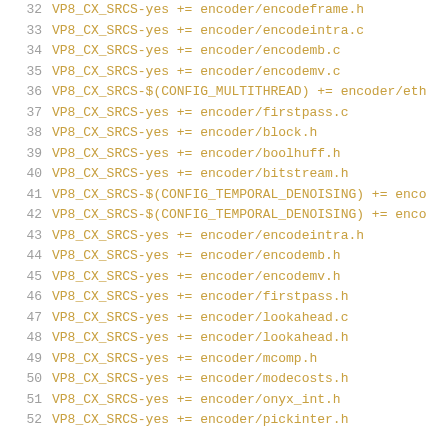32  VP8_CX_SRCS-yes += encoder/encodeframe.h
33  VP8_CX_SRCS-yes += encoder/encodeintra.c
34  VP8_CX_SRCS-yes += encoder/encodemb.c
35  VP8_CX_SRCS-yes += encoder/encodemv.c
36  VP8_CX_SRCS-$(CONFIG_MULTITHREAD) += encoder/eth
37  VP8_CX_SRCS-yes += encoder/firstpass.c
38  VP8_CX_SRCS-yes += encoder/block.h
39  VP8_CX_SRCS-yes += encoder/boolhuff.h
40  VP8_CX_SRCS-yes += encoder/bitstream.h
41  VP8_CX_SRCS-$(CONFIG_TEMPORAL_DENOISING) += enco
42  VP8_CX_SRCS-$(CONFIG_TEMPORAL_DENOISING) += enco
43  VP8_CX_SRCS-yes += encoder/encodeintra.h
44  VP8_CX_SRCS-yes += encoder/encodemb.h
45  VP8_CX_SRCS-yes += encoder/encodemv.h
46  VP8_CX_SRCS-yes += encoder/firstpass.h
47  VP8_CX_SRCS-yes += encoder/lookahead.c
48  VP8_CX_SRCS-yes += encoder/lookahead.h
49  VP8_CX_SRCS-yes += encoder/mcomp.h
50  VP8_CX_SRCS-yes += encoder/modecosts.h
51  VP8_CX_SRCS-yes += encoder/onyx_int.h
52  VP8_CX_SRCS-yes += encoder/pickinter.h